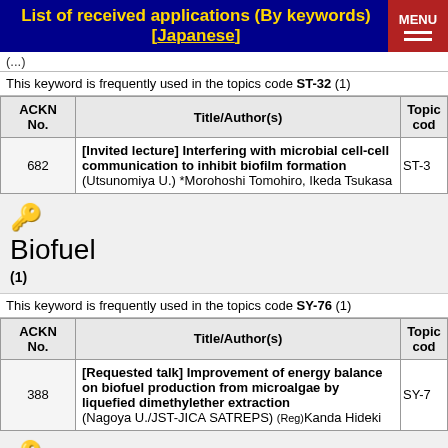List of received applications (By keywords) [Japanese]
This keyword is frequently used in the topics code ST-32 (1)
| ACKN No. | Title/Author(s) | Topics code |
| --- | --- | --- |
| 682 | [Invited lecture] Interfering with microbial cell-cell communication to inhibit biofilm formation
(Utsunomiya U.) *Morohoshi Tomohiro, Ikeda Tsukasa | ST-3... |
Biofuel
(1)
This keyword is frequently used in the topics code SY-76 (1)
| ACKN No. | Title/Author(s) | Topics code |
| --- | --- | --- |
| 388 | [Requested talk] Improvement of energy balance on biofuel production from microalgae by liquefied dimethylether extraction
(Nagoya U./JST-JICA SATREPS) (Reg)Kanda Hideki | SY-7... |
Biofuel cell